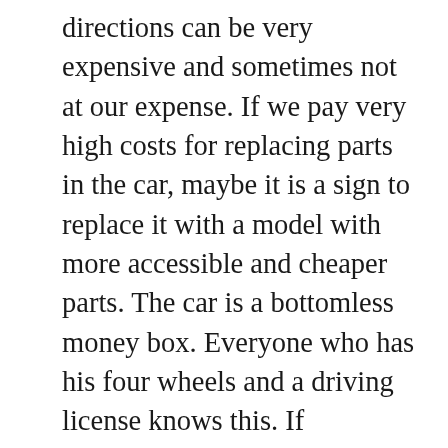directions can be very expensive and sometimes not at our expense. If we pay very high costs for replacing parts in the car, maybe it is a sign to replace it with a model with more accessible and cheaper parts. The car is a bottomless money box. Everyone who has his four wheels and a driving license knows this. If something breaks down in the car, it must be repaired immediately, otherwise our road safety is questionable. American cars break down like any other, and getting parts for them may sometimes be a miracle. The cost of bringing parts to the car from the US is